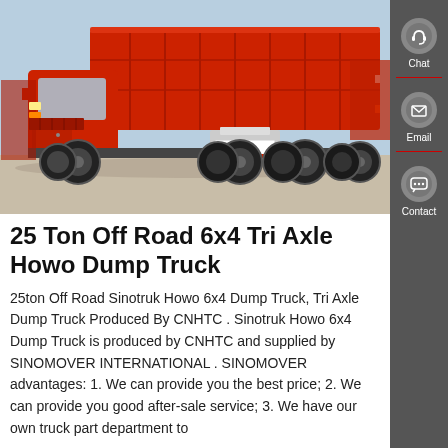[Figure (photo): A large red 6x4 dump truck (Howo/Sinotruk) parked in a yard with other red trucks visible in the background. The truck features a prominent red dump body, large off-road tires, and a red cab. The sky is blue and clear.]
25 Ton Off Road 6x4 Tri Axle Howo Dump Truck
25ton Off Road Sinotruk Howo 6x4 Dump Truck, Tri Axle Dump Truck Produced By CNHTC . Sinotruk Howo 6x4 Dump Truck is produced by CNHTC and supplied by SINOMOVER INTERNATIONAL . SINOMOVER advantages: 1. We can provide you the best price; 2. We can provide you good after-sale service; 3. We have our own truck part department to